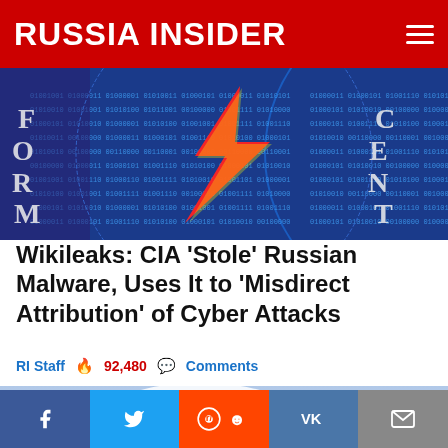RUSSIA INSIDER
[Figure (photo): CIA Information Operations Center badge/patch — circular blue badge with binary code and a lightning bolt, partially cropped]
Wikileaks: CIA 'Stole' Russian Malware, Uses It to 'Misdirect Attribution' of Cyber Attacks
RI Staff 🔥 92,480 💬 Comments
[Figure (photo): Two F-35 fighter jets flying in formation against a cloudy sky]
f  🐦  reddit  VK  ✉